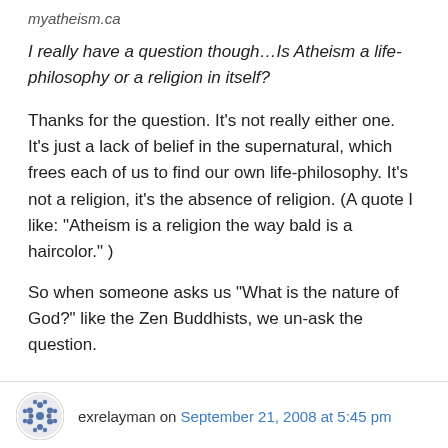myatheism.ca
I really have a question though…Is Atheism a life-philosophy or a religion in itself?
Thanks for the question. It's not really either one. It's just a lack of belief in the supernatural, which frees each of us to find our own life-philosophy. It's not a religion, it's the absence of religion. (A quote I like: “Atheism is a religion the way bald is a haircolor.” )
So when someone asks us “What is the nature of God?” like the Zen Buddhists, we un-ask the question.
exrelayman on September 21, 2008 at 5:45 pm